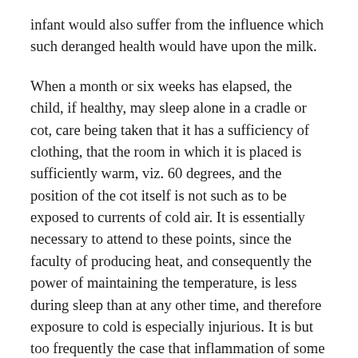infant would also suffer from the influence which such deranged health would have upon the milk.
When a month or six weeks has elapsed, the child, if healthy, may sleep alone in a cradle or cot, care being taken that it has a sufficiency of clothing, that the room in which it is placed is sufficiently warm, viz. 60 degrees, and the position of the cot itself is not such as to be exposed to currents of cold air. It is essentially necessary to attend to these points, since the faculty of producing heat, and consequently the power of maintaining the temperature, is less during sleep than at any other time, and therefore exposure to cold is especially injurious. It is but too frequently the case that inflammation of some internal organ will occur under such circumstances, without the true source of the disease ever being suspected. Here, however, a frequent error must be guarded against, that of covering up the infant in its cot with too much clothing, throwing over